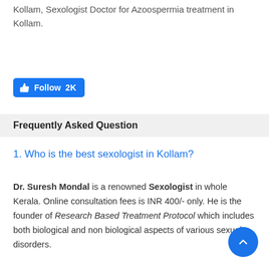Kollam, Sexologist Doctor for Azoospermia treatment in Kollam.
[Figure (other): Facebook Follow button with thumbs up icon showing 2K followers]
Frequently Asked Question
1. Who is the best sexologist in Kollam?
Dr. Suresh Mondal is a renowned Sexologist in whole Kerala. Online consultation fees is INR 400/- only. He is the founder of Research Based Treatment Protocol which includes both biological and non biological aspects of various sexual disorders.